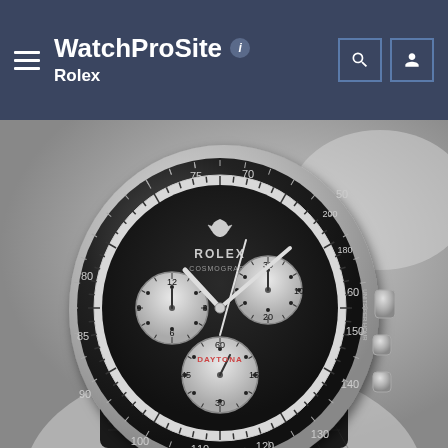WatchProSite  Rolex
[Figure (photo): Black and white close-up photograph of a Rolex Cosmograph Daytona watch with a black bezel showing tachymeter markings (70, 75, 80, 85, 90, 100, 110, 120, 130, 140, 150, 160, 180, 200 units per hour), black dial with three white subsidiary dials (chronograph registers), and black leather strap. The watch is photographed at an angle showing its full face and crown.]